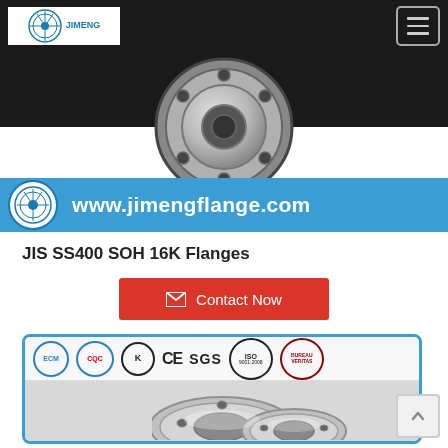www.jimengflange.com
[Figure (photo): Top view of a large dark industrial flange with a polished face, above a blue banner showing the Jimeng company logo and website URL www.jimengflange.com]
JIS SS400 SOH 16K Flanges
Contact Now
[Figure (photo): Product image showing stacked metallic flanges (JIS SS400 SOH 16K) with certification logos at the top including ECM, CQC, KS, CE, SGS, ISO, and Veritas]